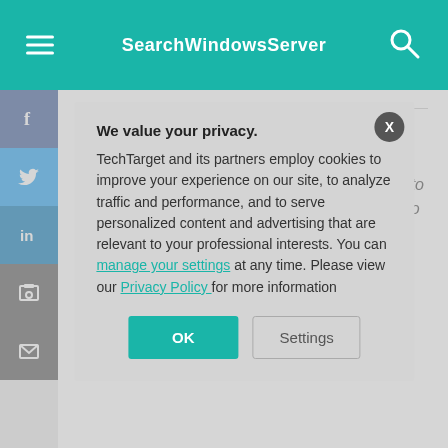SearchWindowsServer
In this tip, Microsoft Exchange expert Brien Posey explains the Set command's role in the Exchange Management Shell (EMS), and how to use it to configure an Exchange 2007 mailbox to block specific senders.
We value your privacy.
TechTarget and its partners employ cookies to improve your experience on our site, to analyze traffic and performance, and to serve personalized content and advertising that are relevant to your professional interests. You can manage your settings at any time. Please view our Privacy Policy for more information